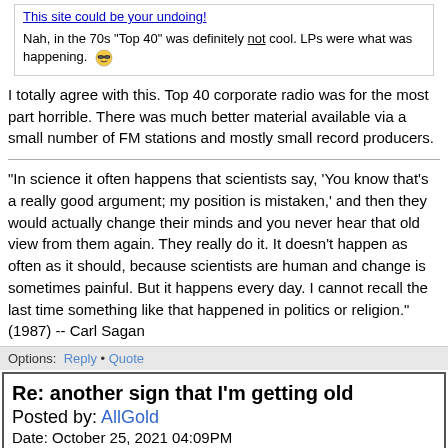This site could be your undoing!
Nah, in the 70s "Top 40" was definitely not cool. LPs were what was happening. 😎
I totally agree with this. Top 40 corporate radio was for the most part horrible. There was much better material available via a small number of FM stations and mostly small record producers.
"In science it often happens that scientists say, 'You know that's a really good argument; my position is mistaken,' and then they would actually change their minds and you never hear that old view from them again. They really do it. It doesn't happen as often as it should, because scientists are human and change is sometimes painful. But it happens every day. I cannot recall the last time something like that happened in politics or religion." (1987) -- Carl Sagan
Options: Reply • Quote
Re: another sign that I'm getting old
Posted by: AllGold
Date: October 25, 2021 04:09PM
There is a new local station I have been listening to a lot that calls itself "easy favorites" or something.
It plays lots of stuff I haven't heard in a long time. Of course since my mind is like a steel trap, 🤔 I can't remember most of what they